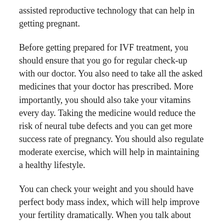assisted reproductive technology that can help in getting pregnant.
Before getting prepared for IVF treatment, you should ensure that you go for regular check-up with our doctor. You also need to take all the asked medicines that your doctor has prescribed. More importantly, you should also take your vitamins every day. Taking the medicine would reduce the risk of neural tube defects and you can get more success rate of pregnancy. You should also regulate moderate exercise, which will help in maintaining a healthy lifestyle.
You can check your weight and you should have perfect body mass index, which will help improve your fertility dramatically. When you talk about preparing for IVF treatment, you should quit smoking. Both active and passive smoking is